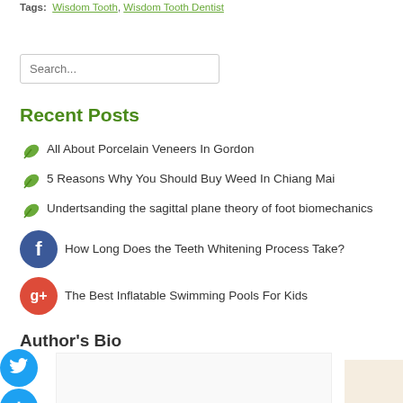Tags: Wisdom Tooth, Wisdom Tooth Dentist
Search...
Recent Posts
All About Porcelain Veneers In Gordon
5 Reasons Why You Should Buy Weed In Chiang Mai
Undertsanding the sagittal plane theory of foot biomechanics
How Long Does the Teeth Whitening Process Take?
The Best Inflatable Swimming Pools For Kids
Author's Bio